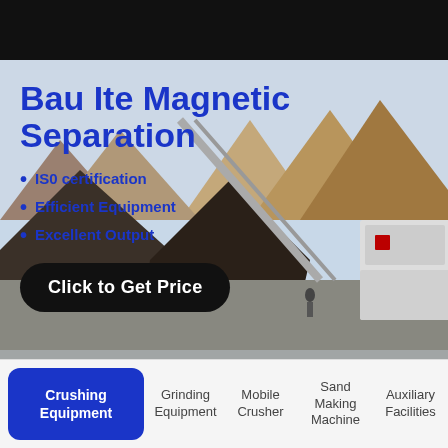[Figure (logo): GBM Machine logo in white italic text on blue background in header]
Bau Ite Magnetic Separation
IS0 certification
Efficient Equipment
Excellent Output
Click to Get Price
[Figure (photo): Mining/quarrying facility with conveyor belts, machinery, and mountainous landscape in background]
Crushing Equipment
Grinding Equipment
Mobile Crusher
Sand Making Machine
Auxiliary Facilities